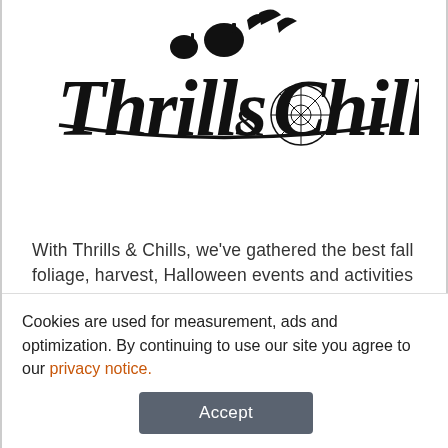[Figure (logo): Thrills & Chills Halloween/fall themed logo with decorative lettering, pumpkins, leaves, and spider web]
With Thrills & Chills, we've gathered the best fall foliage, harvest, Halloween events and activities happening in the Elmira area so you can spend less time searching and more time having fun!
Continue Reading »
Cookies are used for measurement, ads and optimization. By continuing to use our site you agree to our privacy notice.
Accept